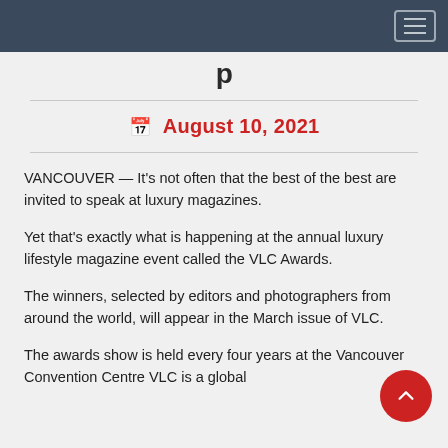August 10, 2021
VANCOUVER — It's not often that the best of the best are invited to speak at luxury magazines.
Yet that's exactly what is happening at the annual luxury lifestyle magazine event called the VLC Awards.
The winners, selected by editors and photographers from around the world, will appear in the March issue of VLC.
The awards show is held every four years at the Vancouver Convention Centre VLC is a global